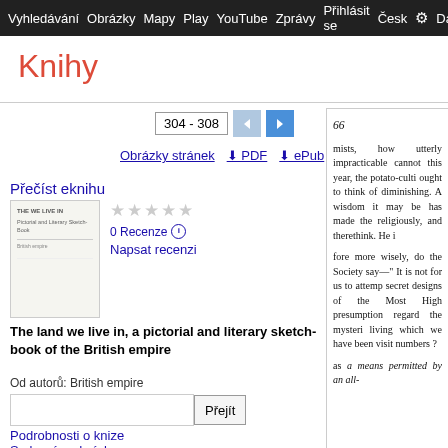Vyhledávání  Obrázky  Mapy  Play  YouTube  Zprávy  Přihlásit se  Česk  Da
Knihy
304 - 308
Obrázky stránek  ⬇ PDF  ⬇ ePub
Přečíst eknihu
[Figure (photo): Book cover thumbnail showing text pages]
★★★★★
0 Recenze ⓘ
Napsat recenzi
The land we live in, a pictorial and literary sketch-book of the British empire
Od autorů: British empire
Přejít
Podrobnosti o knize
Smluvní podmínky
66

mists, how utterly impracticable cannot this year, the potato-culti ought to think of diminishing. A wisdom it may be has made the religiously, and therethink. He i

fore more wisely, do the Society say—" It is not for us to attemp secret designs of the Most High presumption regard the mysteri living which we have been visit numbers ?

as a means permitted by an all-